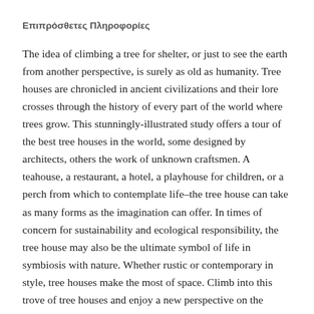Επιπρόσθετες Πληροφορίες
The idea of climbing a tree for shelter, or just to see the earth from another perspective, is surely as old as humanity. Tree houses are chronicled in ancient civilizations and their lore crosses through the history of every part of the world where trees grow. This stunningly-illustrated study offers a tour of the best tree houses in the world, some designed by architects, others the work of unknown craftsmen. A teahouse, a restaurant, a hotel, a playhouse for children, or a perch from which to contemplate life–the tree house can take as many forms as the imagination can offer. In times of concern for sustainability and ecological responsibility, the tree house may also be the ultimate symbol of life in symbiosis with nature. Whether rustic or contemporary in style, tree houses make the most of space. Climb into this trove of tree houses and enjoy a new perspective on the